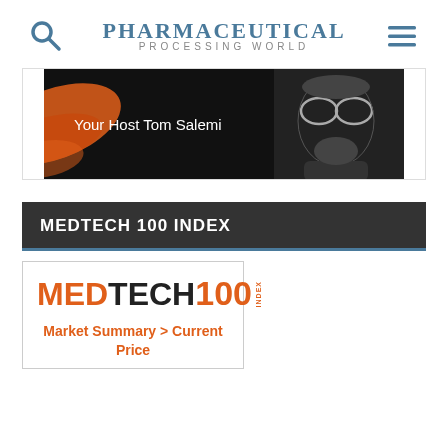Pharmaceutical Processing World
[Figure (photo): Banner image with dark background showing orange swirl graphic on left, text 'Your Host Tom Salemi' in white, and a man with glasses and beard on the right.]
MEDTECH 100 INDEX
[Figure (logo): MedTech 100 Index logo with 'MED' in orange, 'TECH' in dark, '100' in orange, and 'INDEX' written vertically in orange on right.]
Market Summary > Current Price